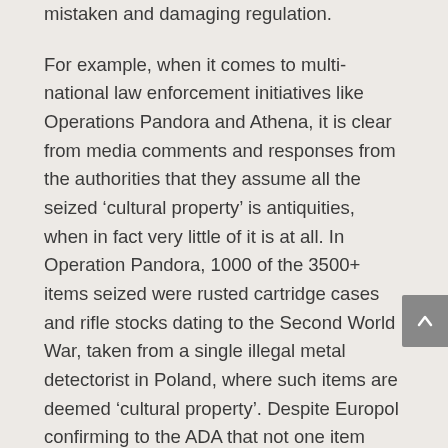mistaken and damaging regulation.
For example, when it comes to multi-national law enforcement initiatives like Operations Pandora and Athena, it is clear from media comments and responses from the authorities that they assume all the seized ‘cultural property’ is antiquities, when in fact very little of it is at all. In Operation Pandora, 1000 of the 3500+ items seized were rusted cartridge cases and rifle stocks dating to the Second World War, taken from a single illegal metal detectorist in Poland, where such items are deemed ‘cultural property’. Despite Europol confirming to the ADA that not one item seized during Operation Pandora came from a conflict zone, its findings have been used as a central plank in attempts to legislate within Europe